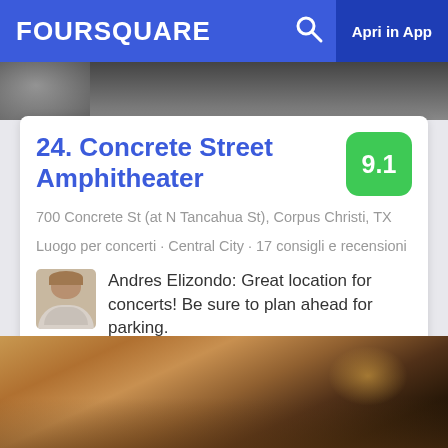FOURSQUARE   Apri in App
[Figure (photo): Top photo strip - partial image of a dark venue/concert space]
24. Concrete Street Amphitheater
700 Concrete St (at N Tancahua St), Corpus Christi, TX
Luogo per concerti · Central City · 17 consigli e recensioni
Andres Elizondo: Great location for concerts! Be sure to plan ahead for parking.
[Figure (photo): Bottom photo strip - interior/seating area of the amphitheater at night with warm lighting]